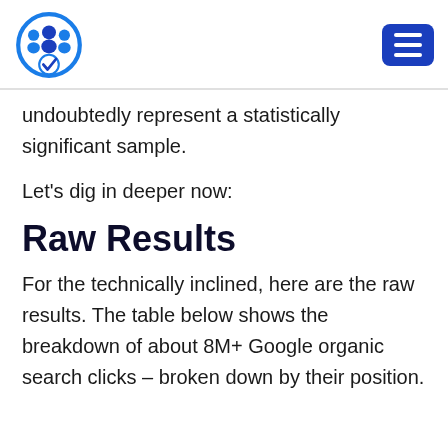[Logo] [Menu button]
undoubtedly represent a statistically significant sample.
Let’s dig in deeper now:
Raw Results
For the technically inclined, here are the raw results. The table below shows the breakdown of about 8M+ Google organic search clicks – broken down by their position.